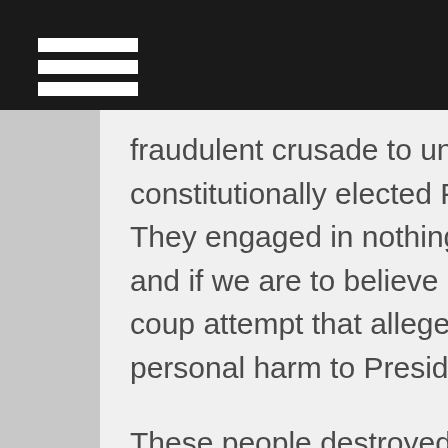fraudulent crusade to unseat the duly and constitutionally elected President of the United States. They engaged in nothing less than a coup attempt, and if we are to believe certain accounts, it was a coup attempt that allegedly entertained discussions of personal harm to President Trump.
These people destroyed lives, families, and exercised every ounce of intimidation they could exert to bully, defame and besmirch